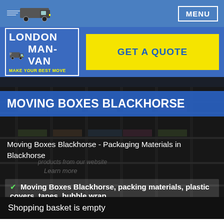MENU
[Figure (logo): London Man-Van logo with truck icon and tagline MAKE YOUR BEST MOVE]
GET A QUOTE
MOVING BOXES BLACKHORSE
Moving Boxes Blackhorse - Packaging Materials in Blackhorse
Moving Boxes Blackhorse, packing materials, plastic covers, tapes, bubble wrap.
Shopping basket is empty